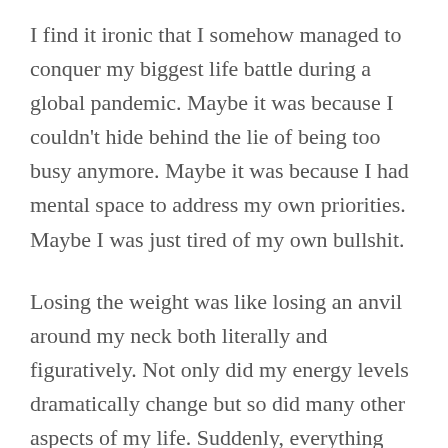I find it ironic that I somehow managed to conquer my biggest life battle during a global pandemic. Maybe it was because I couldn't hide behind the lie of being too busy anymore. Maybe it was because I had mental space to address my own priorities. Maybe I was just tired of my own bullshit.
Losing the weight was like losing an anvil around my neck both literally and figuratively. Not only did my energy levels dramatically change but so did many other aspects of my life. Suddenly, everything was easier. I felt more confident to take on new projects, to speak my mind, to laugh louder and feel deeper. I began running again, took some masterclasses, and even